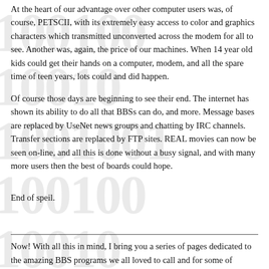At the heart of our advantage over other computer users was, of course, PETSCII, with its extremely easy access to color and graphics characters which transmitted unconverted across the modem for all to see. Another was, again, the price of our machines. When 14 year old kids could get their hands on a computer, modem, and all the spare time of teen years, lots could and did happen.
Of course those days are beginning to see their end. The internet has shown its ability to do all that BBSs can do, and more. Message bases are replaced by UseNet news groups and chatting by IRC channels. Transfer sections are replaced by FTP sites. REAL movies can now be seen on-line, and all this is done without a busy signal, and with many more users then the best of boards could hope.
End of speil.
Now! With all this in mind, I bring you a series of pages dedicated to the amazing BBS programs we all loved to call and for some of